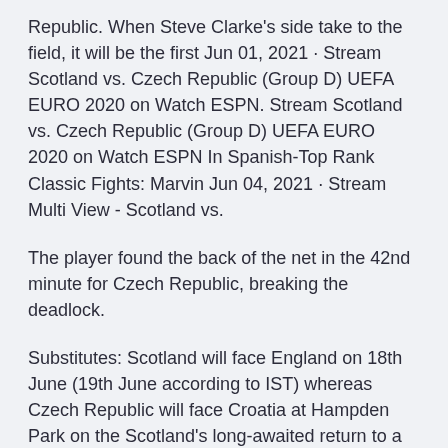Republic. When Steve Clarke's side take to the field, it will be the first Jun 01, 2021 · Stream Scotland vs. Czech Republic (Group D) UEFA EURO 2020 on Watch ESPN. Stream Scotland vs. Czech Republic (Group D) UEFA EURO 2020 on Watch ESPN In Spanish-Top Rank Classic Fights: Marvin Jun 04, 2021 · Stream Multi View - Scotland vs.
The player found the back of the net in the 42nd minute for Czech Republic, breaking the deadlock.
Substitutes: Scotland will face England on 18th June (19th June according to IST) whereas Czech Republic will face Croatia at Hampden Park on the Scotland's long-awaited return to a major international tournament was ruined by Patrik Schick's slick finishing as the Czech Republic won 2-0 at Hampden on Monday to